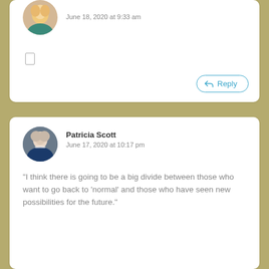June 18, 2020 at 9:33 am
Patricia Scott
June 17, 2020 at 10:17 pm
“I think there is going to be a big divide between those who want to go back to ‘normal’ and those who have seen new possibilities for the future.”